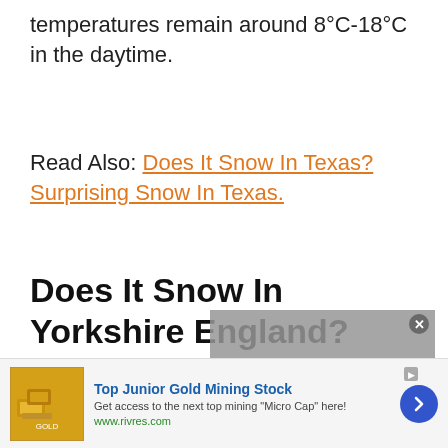temperatures remain around 8°C-18°C in the daytime.
Read Also: Does It Snow In Texas? Surprising Snow In Texas.
Does It Snow In Yorkshire England?
You want to know does it snow in Yorkshire England or not. Well, the
[Figure (other): Video overlay with text: No compatible source was found for this media.]
[Figure (other): Advertisement banner: Top Junior Gold Mining Stock. Get access to the next top mining Micro Cap here! www.rivres.com]